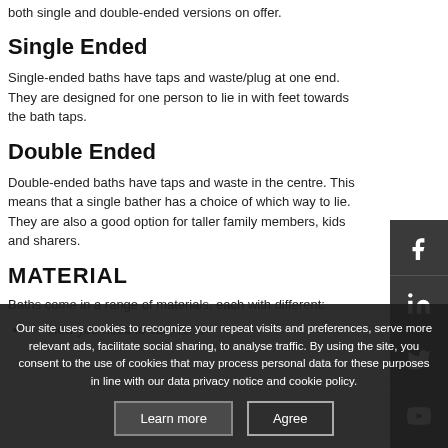both single and double-ended versions on offer.
Single Ended
Single-ended baths have taps and waste/plug at one end. They are designed for one person to lie in with feet towards the bath taps.
Double Ended
Double-ended baths have taps and waste in the centre. This means that a single bather has a choice of which way to lie. They are also a good option for taller family members, kids and sharers.
MATERIAL
Baths come in a range of materials, each with different:
How you need to care for it
Our site uses cookies to recognize your repeat visits and preferences, serve more relevant ads, facilitate social sharing, to analyse traffic. By using the site, you consent to the use of cookies that may process personal data for these purposes in line with our data privacy notice and cookie policy.